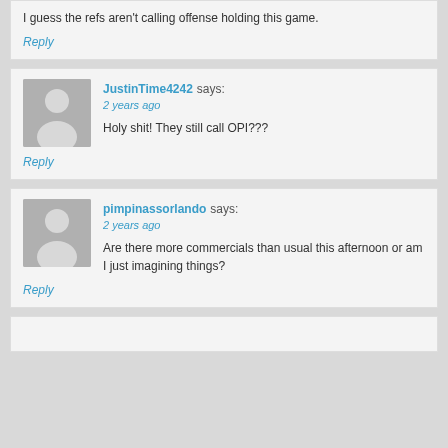I guess the refs aren't calling offense holding this game.
Reply
JustinTime4242 says:
2 years ago
Holy shit! They still call OPI???
Reply
pimpinassorlando says:
2 years ago
Are there more commercials than usual this afternoon or am I just imagining things?
Reply